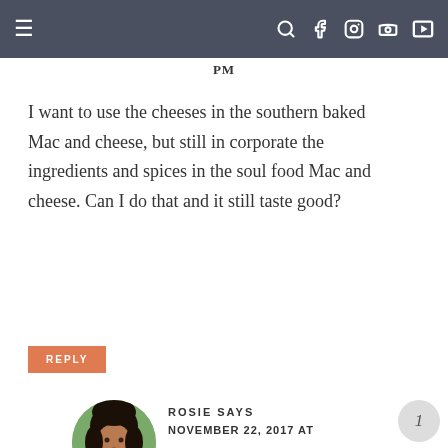≡  🔍 f 📷 𝗽 ▶
PM
I want to use the cheeses in the southern baked Mac and cheese, but still in corporate the ingredients and spices in the soul food Mac and cheese. Can I do that and it still taste good?
REPLY
ROSIE SAYS
NOVEMBER 22, 2017 AT
12:50 PM